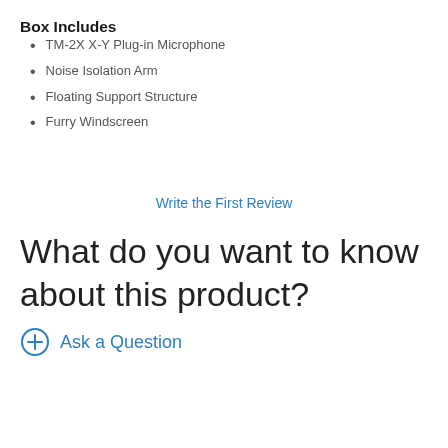Box Includes
TM-2X X-Y Plug-in Microphone
Noise Isolation Arm
Floating Support Structure
Furry Windscreen
Write the First Review
What do you want to know about this product?
Ask a Question